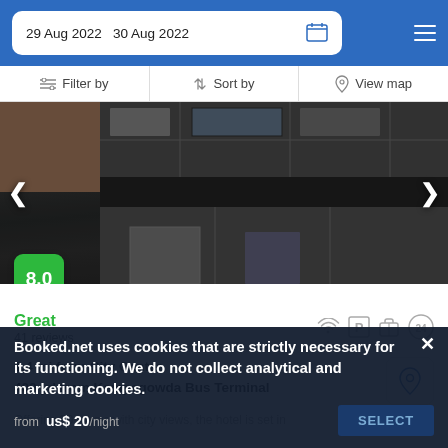29 Aug 2022  30 Aug 2022
Filter by  Sort by  View map
[Figure (photo): Exterior facade of a modern multi-story hotel building with grid-pattern cladding panels in dark grey and brown tones, photographed from a low angle. Navigation arrows on left and right sides. Score badge showing 8.0 in green.]
Great
41 reviews
1.4 mi from City Center
400 yd from Kempegowda Bus Terminal
Offering 50 rooms with city views, the hotel is set in Keramanagala district just steps from Cubbon Park
Booked.net uses cookies that are strictly necessary for its functioning. We do not collect analytical and marketing cookies.
us$ 20/night
SELECT